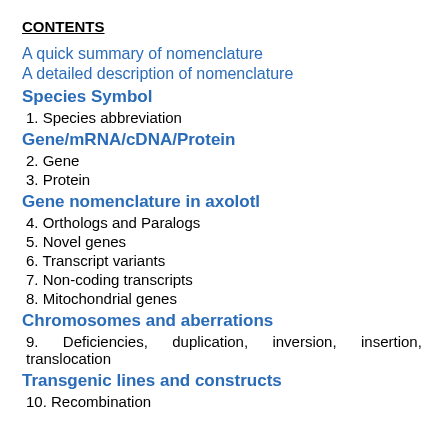CONTENTS
A quick summary of nomenclature
A detailed description of nomenclature
Species Symbol
1. Species abbreviation
Gene/mRNA/cDNA/Protein
2. Gene
3. Protein
Gene nomenclature in axolotl
4. Orthologs and Paralogs
5. Novel genes
6. Transcript variants
7. Non-coding transcripts
8. Mitochondrial genes
Chromosomes and aberrations
9. Deficiencies, duplication, inversion, insertion, translocation
Transgenic lines and constructs
10. Recombination